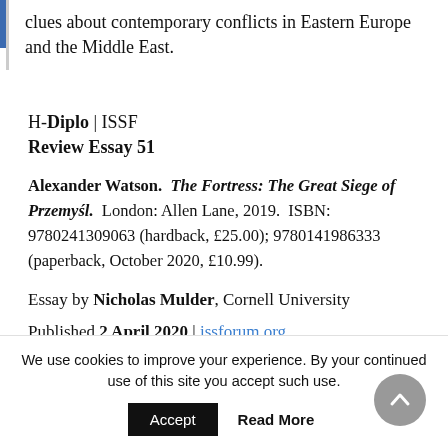clues about contemporary conflicts in Eastern Europe and the Middle East.
H-Diplo | ISSF
Review Essay 51
Alexander Watson. The Fortress: The Great Siege of Przemyśl. London: Allen Lane, 2019. ISBN: 9780241309063 (hardback, £25.00); 9780141986333 (paperback, October 2020, £10.99).
Essay by Nicholas Mulder, Cornell University
Published 2 April 2020 | issforum.org
Editor: Diana Labrosse
We use cookies to improve your experience. By your continued use of this site you accept such use.
Accept   Read More